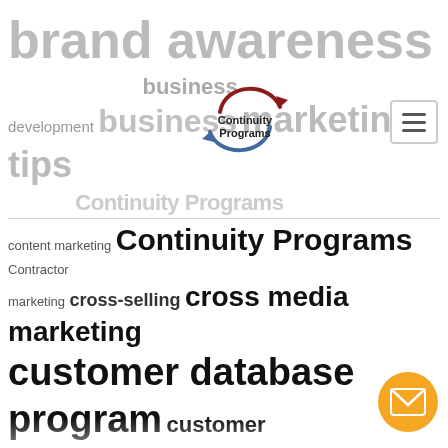[Figure (logo): Continuity Programs circular arrow logo with red and blue arrows, text 'Continuity Programs' below]
brand awareness brand consistency business development business marketing tips content marketing Continuity Programs Contractor marketing cross-selling cross media marketing customer database program customer engagement customer follow-up customer loyalty Customer loyalty programs customer prospecting customer retention customer satisfaction customer satisfaction surveys customer tracking database direct mail ecard marketing email campaign email marketing lead generation marketing